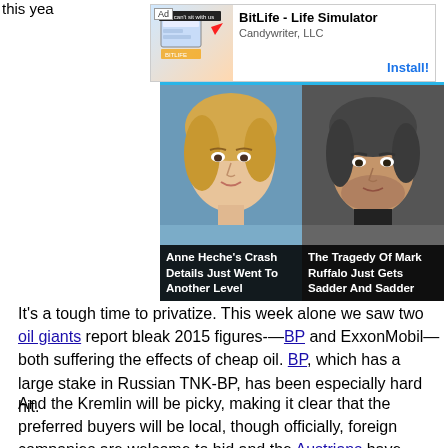this yea
[Figure (screenshot): Ad banner: BitLife - Life Simulator by Candywriter, LLC with Install button]
[Figure (photo): Two-panel image. Left: Anne Heche portrait with caption 'Anne Heche's Crash Details Just Went To Another Level'. Right: Mark Ruffalo portrait with caption 'The Tragedy Of Mark Ruffalo Just Gets Sadder And Sadder']
It's a tough time to privatize. This week alone we saw two oil giants report bleak 2015 figures-—BP and ExxonMobil—both suffering the effects of cheap oil. BP, which has a large stake in Russian TNK-BP, has been especially hard hit.
And the Kremlin will be picky, making it clear that the preferred buyers will be local, though officially, foreign companies are welcome to bid and the Austrians have been